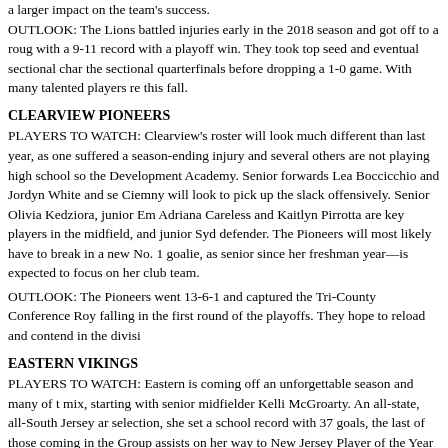a larger impact on the team's success.
OUTLOOK: The Lions battled injuries early in the 2018 season and got off to a rough start with a 9-11 record with a playoff win. They took top seed and eventual sectional champions in the sectional quarterfinals before dropping a 1-0 game. With many talented players returning this fall.
CLEARVIEW PIONEERS
PLAYERS TO WATCH: Clearview's roster will look much different than last year, as one suffered a season-ending injury and several others are not playing high school soccer for the Development Academy. Senior forwards Lea Boccicchio and Jordyn White and se Ciemny will look to pick up the slack offensively. Senior Olivia Kedziora, junior Em Adriana Careless and Kaitlyn Pirrotta are key players in the midfield, and junior Syd defender. The Pioneers will most likely have to break in a new No. 1 goalie, as senior since her freshman year—is expected to focus on her club team.
OUTLOOK: The Pioneers went 13-6-1 and captured the Tri-County Conference Roy falling in the first round of the playoffs. They hope to reload and contend in the divisi
EASTERN VIKINGS
PLAYERS TO WATCH: Eastern is coming off an unforgettable season and many of t mix, starting with senior midfielder Kelli McGroarty. An all-state, all-South Jersey ar selection, she set a school record with 37 goals, the last of those coming in the Group assists on her way to New Jersey Player of the Year honors. McGroarty has a chance leading scorer before continuing her career at La Salle. Junior forward Riley Tiernan who scored 21 goals and led the state with 30 assists, breaking the school record held commit, she made the all-state, all-South Jersey and all-conference first teams as wel center back Sara Brocious, who is the leader of Eastern's defense and also contributed Brocious, also a Rutgers recruit, made the all-state second team along with the all-S